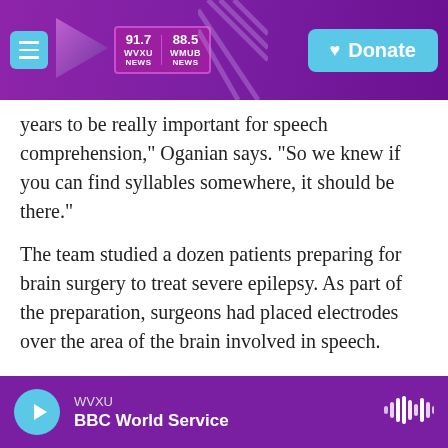WVXU 91.7 NEWS | WHUR 88.5 NEWS | Donate
years to be really important for speech comprehension," Oganian says. "So we knew if you can find syllables somewhere, it should be there."
The team studied a dozen patients preparing for brain surgery to treat severe epilepsy. As part of the preparation, surgeons had placed electrodes over the area of the brain involved in speech.
"So then, we asked our patients to lay back, relax and listen," Oganian says.
They heard lots of sentences, including the first line
WVXU | BBC World Service